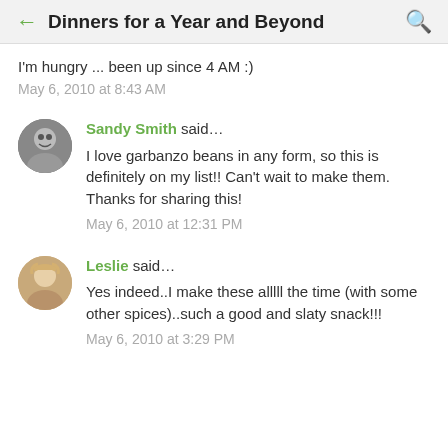Dinners for a Year and Beyond
I'm hungry ... been up since 4 AM :)
May 6, 2010 at 8:43 AM
Sandy Smith said…
I love garbanzo beans in any form, so this is definitely on my list!! Can't wait to make them. Thanks for sharing this!
May 6, 2010 at 12:31 PM
Leslie said…
Yes indeed..I make these alllll the time (with some other spices)..such a good and slaty snack!!!
May 6, 2010 at 3:29 PM